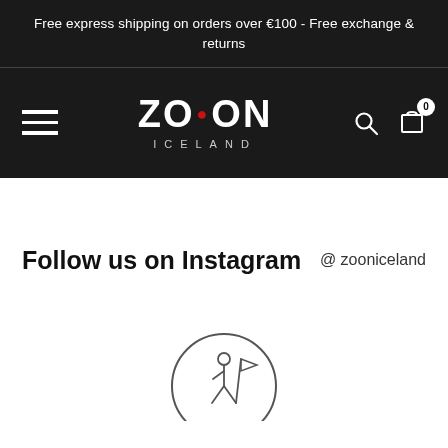Free express shipping on orders over €100 - Free exchange & returns
[Figure (logo): ZO•ON ICELAND logo with hamburger menu, search icon, and cart icon with badge 0 on dark navigation bar]
Follow us on Instagram @ zooniceland
[Figure (illustration): Circle outline icon with a person holding a flag, partially visible at the bottom of the page]